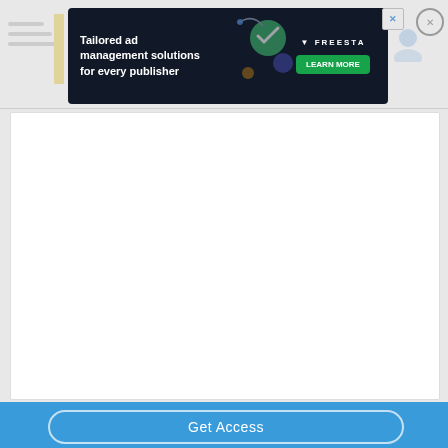[Figure (screenshot): Advertisement banner for Freestar ad management platform. Dark background with text 'Tailored ad management solutions for every publisher', Freestar logo, and 'LEARN MORE' button in green. Close button (X) on the right side.]
[Figure (screenshot): Main white content area (paywalled/blurred content area) with a blue bottom bar containing a 'Get Access' button with rounded border outline in white.]
Get Access